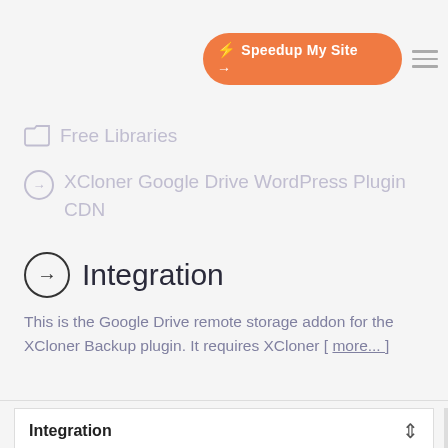[Figure (screenshot): Orange rounded button labeled 'Speedup My Site' with lightning bolt icon and arrow, and a hamburger menu icon to the right]
Free Libraries
XCloner Google Drive WordPress Plugin CDN
Integration
This is the Google Drive remote storage addon for the XCloner Backup plugin. It requires XCloner [ more... ]
| Integration |
| --- |
Manual Integration